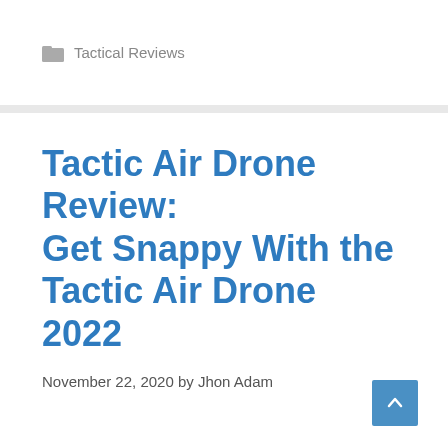Tactical Reviews
Tactic Air Drone Review: Get Snappy With the Tactic Air Drone 2022
November 22, 2020 by Jhon Adam